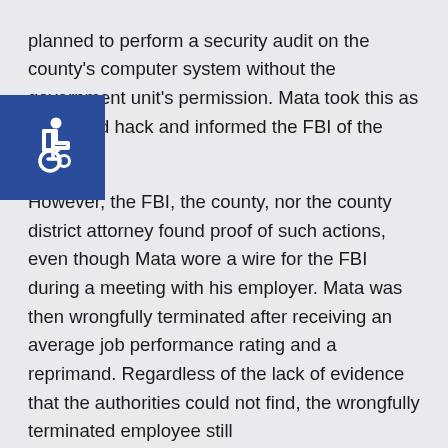planned to perform a security audit on the county's computer system without the government unit's permission. Mata took this as a planned hack and informed the FBI of the plot.
[Figure (illustration): Blue square icon with white wheelchair accessibility symbol (person in wheelchair)]
However, the FBI, the county, nor the county district attorney found proof of such actions, even though Mata wore a wire for the FBI during a meeting with his employer. Mata was then wrongfully terminated after receiving an average job performance rating and a reprimand. Regardless of the lack of evidence that the authorities could not find, the wrongfully terminated employee still